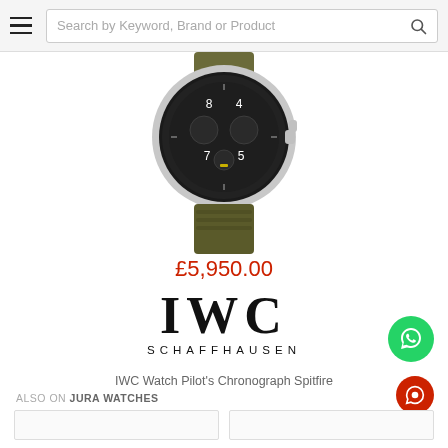Search by Keyword, Brand or Product
[Figure (photo): IWC Pilot's Chronograph Spitfire watch with dark dial, white numerals 4, 5, 7, 8, sub-dials, and olive green NATO strap, partially cropped at top]
£5,950.00
[Figure (logo): IWC Schaffhausen logo in large serif font IWC with SCHAFFHAUSEN in spaced capitals below]
IWC Watch Pilot's Chronograph Spitfire
ALSO ON JURA WATCHES